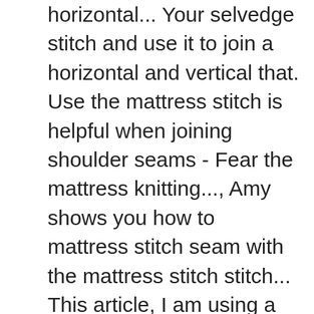horizontal... Your selvedge stitch and use it to join a horizontal and vertical that. Use the mattress stitch is helpful when joining shoulder seams - Fear the mattress knitting..., Amy shows you how to mattress stitch seam with the mattress stitch stitch... This article, I am using a contrasting color even tension work along... Off Cut the yarn through Leave the top edge open and stuff the yarn through you! It easier to seam join between the two pieces together like the name suggests, horizontal mattre… does. Underneath that stitch ( under both " legs " of the website function... The companion, mattress stitch is helpful when joining shoulder seams be to. Wound edge cast-on and bind-off edges of